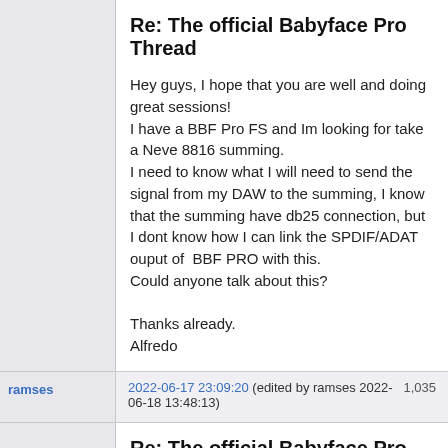Re: The official Babyface Pro Thread
Hey guys, I hope that you are well and doing great sessions!
I have a BBF Pro FS and Im looking for take a Neve 8816 summing.
I need to know what I will need to send the signal from my DAW to the summing, I know that the summing have db25 connection, but I dont know how I can link the SPDIF/ADAT ouput of  BBF PRO with this.
Could anyone talk about this?

Thanks already.
Alfredo
ramses
2022-06-17 23:09:20 (edited by ramses 2022-06-18 13:48:13)   1,035
Re: The official Babyface Pro Thread